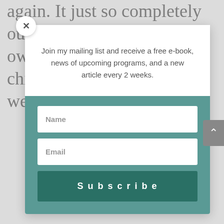again. It just so completely out of whack how much we own and how privileged our children are. I just wish it were easier to find some
[Figure (screenshot): Modal popup with close (x) button, white top section with mailing list signup text, and teal bottom section with Name input, Email input, and Subscribe button]
Join my mailing list and receive a free e-book, news of upcoming programs, and a new article every 2 weeks.